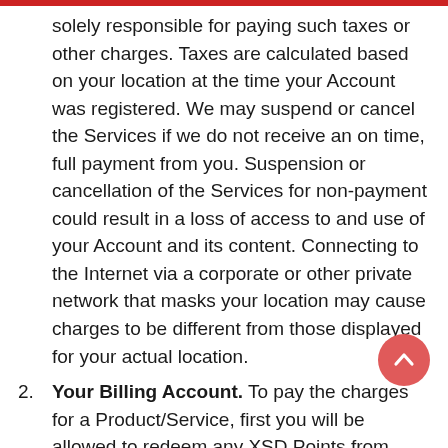solely responsible for paying such taxes or other charges. Taxes are calculated based on your location at the time your Account was registered. We may suspend or cancel the Services if we do not receive an on time, full payment from you. Suspension or cancellation of the Services for non-payment could result in a loss of access to and use of your Account and its content. Connecting to the Internet via a corporate or other private network that masks your location may cause charges to be different from those displayed for your actual location.
2. Your Billing Account. To pay the charges for a Product/Service, first you will be allowed to redeem any XSD Points from your Account towards the purchase price. Next, you will be directed to our BAS/Bitcoin Marin...